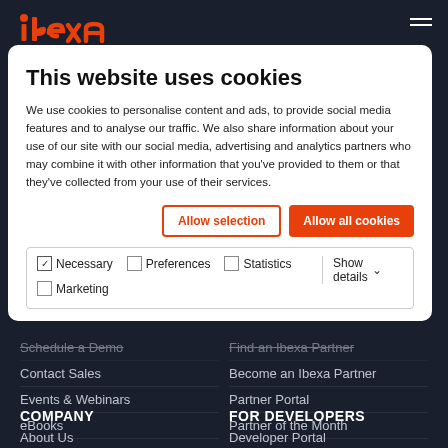ibexa
This website uses cookies
We use cookies to personalise content and ads, to provide social media features and to analyse our traffic. We also share information about your use of our site with our social media, advertising and analytics partners who may combine it with other information that you've provided to them or that they've collected from your use of their services.
Allow selection | Allow all cookies
Necessary | Preferences | Statistics | Marketing | Show details
Schedule a Demo
Contact Sales
Events & Webinars
eBooks
Find an Ibexa Partner
Become an Ibexa Partner
Partner Portal
Partner of the Month
COMPANY
FOR DEVELOPERS
About Us
Developer Portal